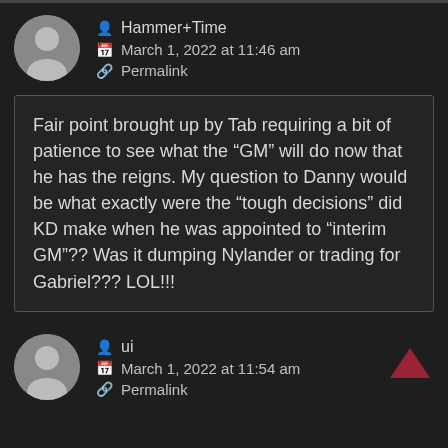Hammer+Time — March 1, 2022 at 11:46 am — Permalink
Fair point brought up by Tab requiring a bit of patience to see what the "GM" will do now that he has the reigns. My question to Danny would be what exactly were the "tough decisions" did KD make when he was appointed to "interim GM"?? Was it dumping Nylander or trading for Gabriel??? LOL!!!
ui — March 1, 2022 at 11:54 am — Permalink